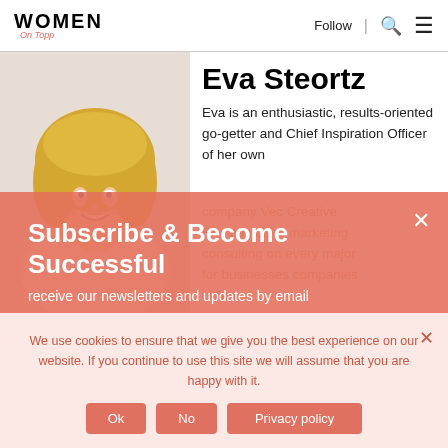Women On Topp | Follow | [search] [menu]
Eva Steortz
[Figure (photo): Professional headshot of Eva Steortz, a woman with blonde hair, smiling, against a white background]
Eva is an enthusiastic, results-oriented go-getter and Chief Inspiration Officer of her own company Vec Creative She has done marketing consulting on every major for businesses companies billion
Subscribe & Become Successful
receive our newsletters and updates by email
We use cookies to ensure that we give you the best experience on our website. If you continue to use this site we will assume that you are happy with it.